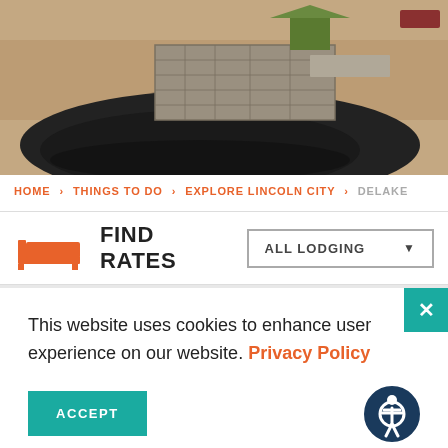[Figure (photo): Aerial or eye-level photo of a coastal area showing a stone/rock wall structure, sandy beach, dark water, and a green-topped barrier or structure.]
HOME > THINGS TO DO > EXPLORE LINCOLN CITY > DELAKE
FIND RATES  ALL LODGING ▼
This website uses cookies to enhance user experience on our website. Privacy Policy
ACCEPT